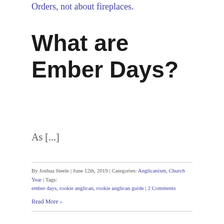Orders, not about fireplaces.
What are Ember Days?
As [...]
By Joshua Steele | June 12th, 2019 | Categories: Anglicanism, Church Year | Tags:
ember days, rookie anglican, rookie anglican guide | 2 Comments
Read More >